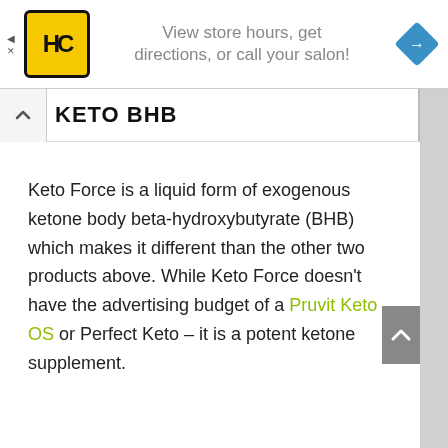[Figure (screenshot): Advertisement banner with HC (Hair Club) logo on yellow square background, text 'View store hours, get directions, or call your salon!' in grey, and a blue navigation arrow diamond icon on the right. Small ad close arrows on far left.]
KETO BHB
Keto Force is a liquid form of exogenous ketone body beta-hydroxybutyrate (BHB) which makes it different than the other two products above. While Keto Force doesn't have the advertising budget of a Pruvit Keto OS or Perfect Keto – it is a potent ketone supplement.